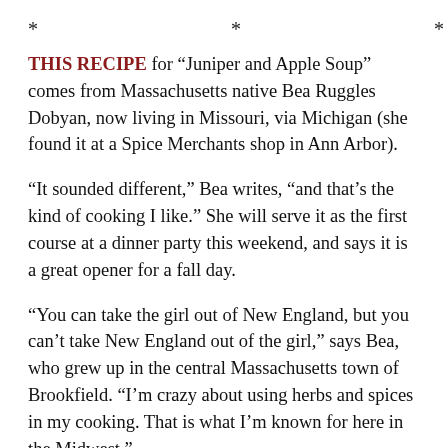* * *
THIS RECIPE for “Juniper and Apple Soup” comes from Massachusetts native Bea Ruggles Dobyan, now living in Missouri, via Michigan (she found it at a Spice Merchants shop in Ann Arbor).
“It sounded different,” Bea writes, “and that’s the kind of cooking I like.” She will serve it as the first course at a dinner party this weekend, and says it is a great opener for a fall day.
“You can take the girl out of New England, but you can’t take New England out of the girl,” says Bea, who grew up in the central Massachusetts town of Brookfield. “I’m crazy about using herbs and spices in my cooking. That is what I’m known for here in the Midwest.”